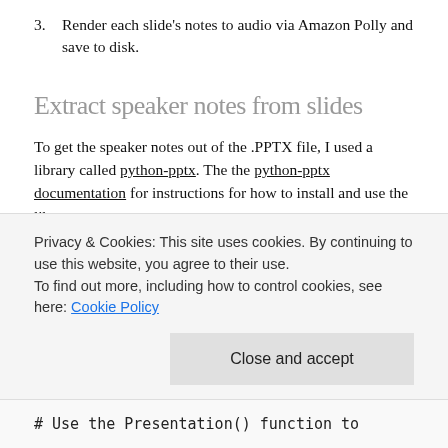3. Render each slide's notes to audio via Amazon Polly and save to disk.
Extract speaker notes from slides
To get the speaker notes out of the .PPTX file, I used a library called python-pptx. The the python-pptx documentation for instructions for how to install and use the library.
The function below takes a string containing the path to the PowerPoint file to be processed, and returns a array
Privacy & Cookies: This site uses cookies. By continuing to use this website, you agree to their use.
To find out more, including how to control cookies, see here: Cookie Policy
# Use the Presentation() function to